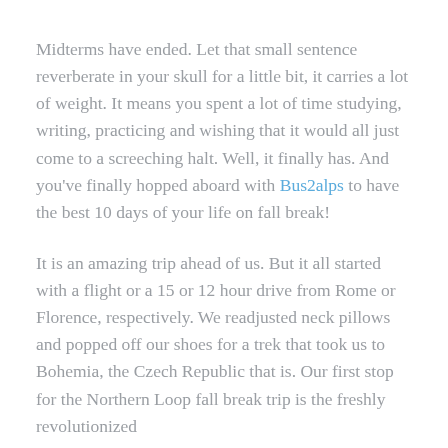Midterms have ended. Let that small sentence reverberate in your skull for a little bit, it carries a lot of weight. It means you spent a lot of time studying, writing, practicing and wishing that it would all just come to a screeching halt. Well, it finally has. And you've finally hopped aboard with Bus2alps to have the best 10 days of your life on fall break!
It is an amazing trip ahead of us. But it all started with a flight or a 15 or 12 hour drive from Rome or Florence, respectively. We readjusted neck pillows and popped off our shoes for a trek that took us to Bohemia, the Czech Republic that is. Our first stop for the Northern Loop fall break trip is the freshly revolutionized